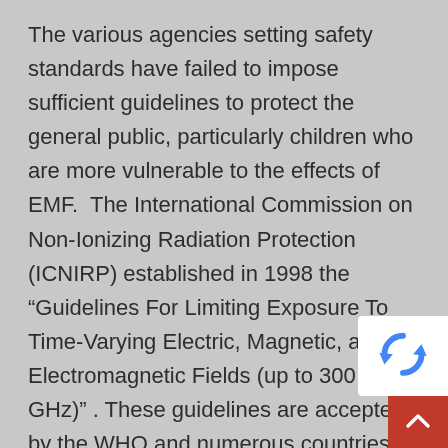The various agencies setting safety standards have failed to impose sufficient guidelines to protect the general public, particularly children who are more vulnerable to the effects of EMF.  The International Commission on Non-Ionizing Radiation Protection (ICNIRP) established in 1998 the “Guidelines For Limiting Exposure To Time-Varying Electric, Magnetic, and Electromagnetic Fields (up to 300 GHz)” . These guidelines are accepted by the WHO and numerous countries around the world. The WHO is calling for all nations to adopt the ICNIRP guidelines to encourage international harmonization of standards. In 2009, the ICNIRP released a statement saying that it was reaffirming its 1998 guidelines, as in their opinion, the scientific